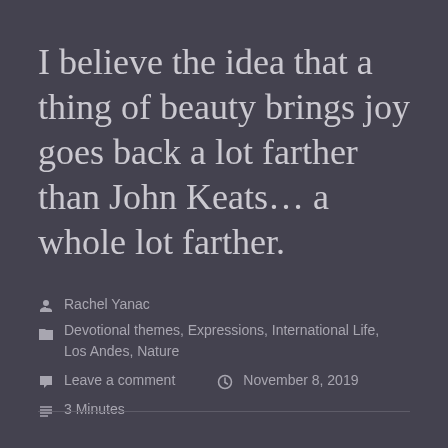I believe the idea that a thing of beauty brings joy goes back a lot farther than John Keats… a whole lot farther.
Rachel Yanac
Devotional themes, Expressions, International Life, Los Andes, Nature
Leave a comment  November 8, 2019
3 Minutes